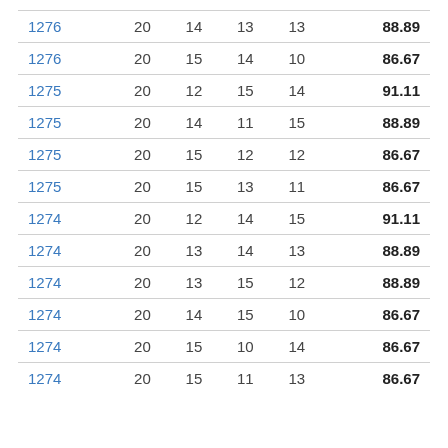| 1276 | 20 | 14 | 13 | 13 | 88.89 |
| 1276 | 20 | 15 | 14 | 10 | 86.67 |
| 1275 | 20 | 12 | 15 | 14 | 91.11 |
| 1275 | 20 | 14 | 11 | 15 | 88.89 |
| 1275 | 20 | 15 | 12 | 12 | 86.67 |
| 1275 | 20 | 15 | 13 | 11 | 86.67 |
| 1274 | 20 | 12 | 14 | 15 | 91.11 |
| 1274 | 20 | 13 | 14 | 13 | 88.89 |
| 1274 | 20 | 13 | 15 | 12 | 88.89 |
| 1274 | 20 | 14 | 15 | 10 | 86.67 |
| 1274 | 20 | 15 | 10 | 14 | 86.67 |
| 1274 | 20 | 15 | 11 | 13 | 86.67 |